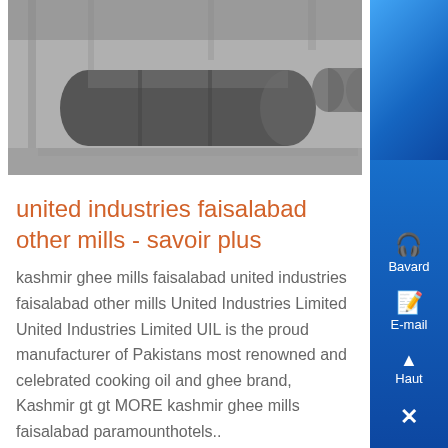[Figure (photo): Industrial pressure vessel / horizontal tank in a factory warehouse setting, gray metallic finish]
united industries faisalabad other mills - savoir plus
kashmir ghee mills faisalabad united industries faisalabad other mills United Industries Limited United Industries Limited UIL is the proud manufacturer of Pakistans most renowned and celebrated cooking oil and ghee brand, Kashmir gt gt MORE kashmir ghee mills faisalabad paramounthotels..
[Figure (photo): Close-up of an industrial mill or grinding machine drum interior, metallic/gray, bolts visible around rim]